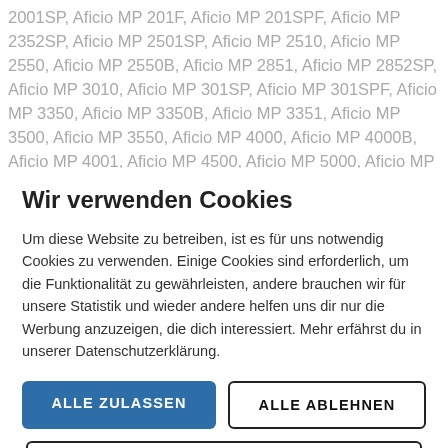2001SP, Aficio MP 201F, Aficio MP 201SPF, Aficio MP 2352SP, Aficio MP 2501SP, Aficio MP 2510, Aficio MP 2550, Aficio MP 2550B, Aficio MP 2851, Aficio MP 2852SP, Aficio MP 3010, Aficio MP 301SP, Aficio MP 301SPF, Aficio MP 3350, Aficio MP 3350B, Aficio MP 3351, Aficio MP 3500, Aficio MP 3550, Aficio MP 4000, Aficio MP 4000B, Aficio MP 4001, Aficio MP 4500, Aficio MP 5000, Aficio MP 5000B, Aficio MP
Wir verwenden Cookies
Um diese Website zu betreiben, ist es für uns notwendig Cookies zu verwenden. Einige Cookies sind erforderlich, um die Funktionalität zu gewährleisten, andere brauchen wir für unsere Statistik und wieder andere helfen uns dir nur die Werbung anzuzeigen, die dich interessiert. Mehr erfährst du in unserer Datenschutzerklärung.
ALLE ZULASSEN
ALLE ABLEHNEN
EINSTELLUNGEN
Datenschutz | Impressum